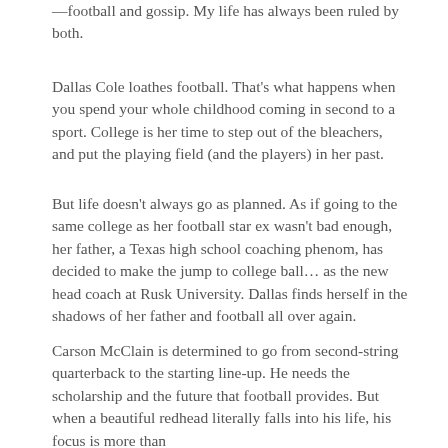—football and gossip. My life has always been ruled by both.
Dallas Cole loathes football. That's what happens when you spend your whole childhood coming in second to a sport. College is her time to step out of the bleachers, and put the playing field (and the players) in her past.
But life doesn't always go as planned. As if going to the same college as her football star ex wasn't bad enough, her father, a Texas high school coaching phenom, has decided to make the jump to college ball… as the new head coach at Rusk University. Dallas finds herself in the shadows of her father and football all over again.
Carson McClain is determined to go from second-string quarterback to the starting line-up. He needs the scholarship and the future that football provides. But when a beautiful redhead literally falls into his life, his focus is more than a little difficult to maintain.